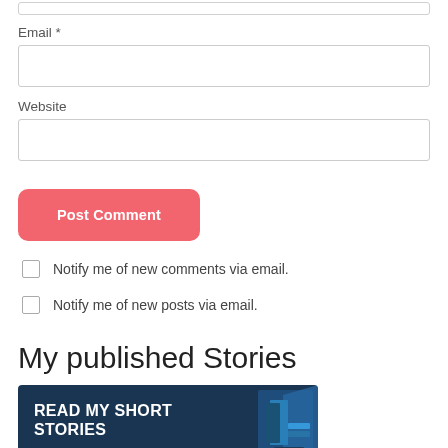Email *
Website
Post Comment
Notify me of new comments via email.
Notify me of new posts via email.
My published Stories
[Figure (illustration): Dark blue banner image with white bold text reading 'READ MY SHORT STORIES' with a graphic of books on the right side]